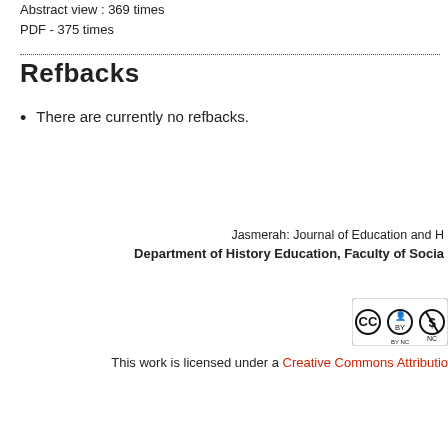Abstract view : 369 times
PDF - 375 times
Refbacks
There are currently no refbacks.
Jasmerah: Journal of Education and H
Department of History Education, Faculty of Socia
[Figure (logo): Creative Commons BY-NC license badge]
This work is licensed under a Creative Commons Attributio